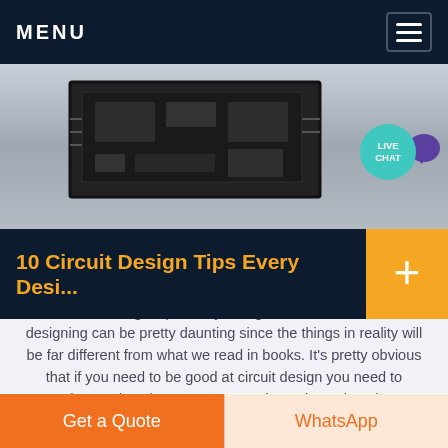MENU
[Figure (photo): Close-up photo of a circuit board/electronic component, dark tones, overhead view]
10 Circuit Design Tips Every Desi...
10 Circuit Design Tips Every Designer Must Know: Circuit designing can be pretty daunting since the things in reality will be far different from what we read in books. It's pretty obvious that if you need to be good at circuit design you need to understand each components and practice quite a lot..
Get a Quote | WhatsApp